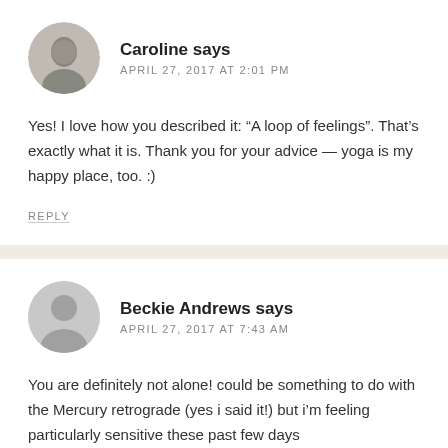Caroline says
APRIL 27, 2017 AT 2:01 PM
Yes! I love how you described it: “A loop of feelings”. That’s exactly what it is. Thank you for your advice — yoga is my happy place, too. :)
REPLY
Beckie Andrews says
APRIL 27, 2017 AT 7:43 AM
You are definitely not alone! could be something to do with the Mercury retrograde (yes i said it!) but i’m feeling particularly sensitive these past few days